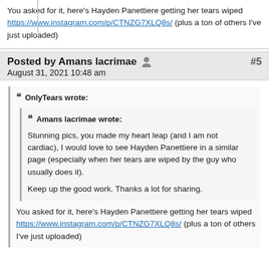You asked for it, here's Hayden Panettiere getting her tears wiped https://www.instagram.com/p/CTNZG7XLQ8s/ (plus a ton of others I've just uploaded)
Posted by Amans lacrimae  #5
August 31, 2021 10:48 am
❝ OnlyTears wrote:
❝ Amans lacrimae wrote:
Stunning pics, you made my heart leap (and I am not cardiac), I would love to see Hayden Panettiere in a similar page (especially when her tears are wiped by the guy who usually does it).

Keep up the good work. Thanks a lot for sharing.

You asked for it, here's Hayden Panettiere getting her tears wiped https://www.instagram.com/p/CTNZG7XLQ8s/ (plus a ton of others I've just uploaded)